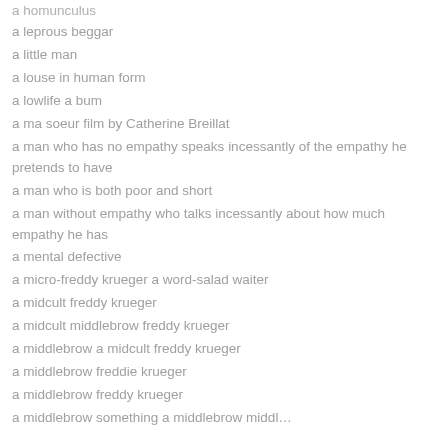a homunculus
a leprous beggar
a little man
a louse in human form
a lowlife a bum
a ma soeur film by Catherine Breillat
a man who has no empathy speaks incessantly of the empathy he pretends to have
a man who is both poor and short
a man without empathy who talks incessantly about how much empathy he has
a mental defective
a micro-freddy krueger a word-salad waiter
a midcult freddy krueger
a midcult middlebrow freddy krueger
a middlebrow a midcult freddy krueger
a middlebrow freddie krueger
a middlebrow freddy krueger
a middlebrow...